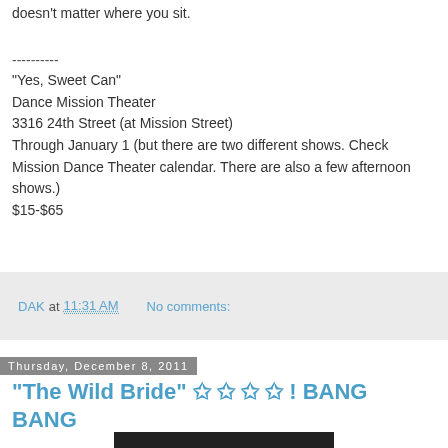doesn't matter where you sit.
----------
"Yes, Sweet Can"
Dance Mission Theater
3316 24th Street (at Mission Street)
Through January 1 (but there are two different shows. Check Mission Dance Theater calendar. There are also a few afternoon shows.)
$15-$65
DAK at 11:31 AM    No comments:
Thursday, December 8, 2011
"The Wild Bride" ✩ ✩ ✩ ✩ ! BANG BANG